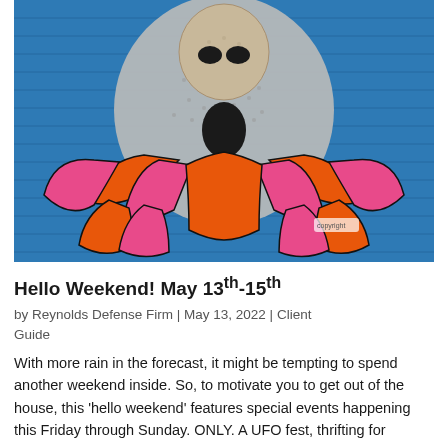[Figure (illustration): A colorful knitted or crocheted alien figure mounted on a blue painted wooden surface. The alien has a beige/grey head with black eyes, wearing a bright pink and orange ruffled skirt-like outfit. The artwork appears to be yarn or textile art displayed outdoors.]
Hello Weekend! May 13th-15th
by Reynolds Defense Firm | May 13, 2022 | Client Guide
With more rain in the forecast, it might be tempting to spend another weekend inside. So, to motivate you to get out of the house, this 'hello weekend' features special events happening this Friday through Sunday. ONLY. A UFO fest, thrifting for